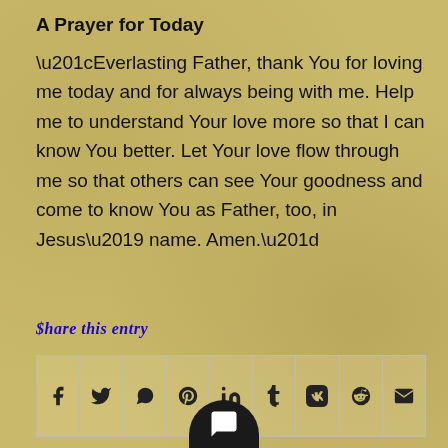A Prayer for Today
“Everlasting Father, thank You for loving me today and for always being with me. Help me to understand Your love more so that I can know You better. Let Your love flow through me so that others can see Your goodness and come to know You as Father, too, in Jesus’ name. Amen.”
Share this entry
[Figure (other): Row of social media sharing icons: Facebook, Twitter, WhatsApp, Pinterest, LinkedIn, Tumblr, VK, Reddit, Email]
[Figure (other): Black rounded button at bottom center with a person/comment icon]